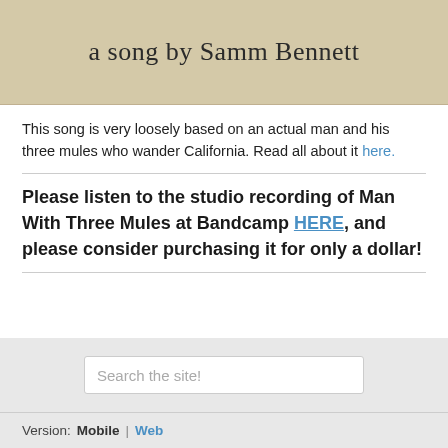a song by Samm Bennett
This song is very loosely based on an actual man and his three mules who wander California. Read all about it here.
Please listen to the studio recording of Man With Three Mules at Bandcamp HERE, and please consider purchasing it for only a dollar!
Search the site!
Version: Mobile | Web